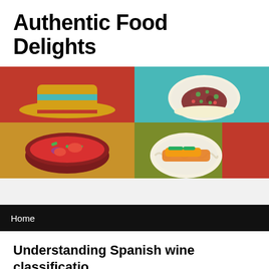Authentic Food Delights
[Figure (illustration): Colorful food illustration banner showing a Mexican sombrero hat in the top-left quadrant on a red background, a plate of food with green toppings on a teal background top-right, a bowl of red salsa/stew on a golden-yellow background bottom-left, and a plate of food on red background bottom-right.]
Home
Understanding Spanish wine classificatio…
Posted on July 16, 2021 by Adm1n
Coming from the top wine exporter in the world, Spanish win…